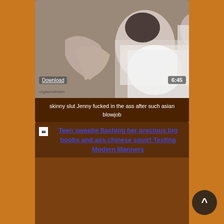[Figure (photo): Video thumbnail showing a scene, with Download button overlay and 6:45 duration badge]
skinny slut Jenny fucked in the ass after such asian blowjob
Teen sweetie flashing her precious big boobs and ass chinese squirt Testing Modern Manners
[Figure (photo): Second video card with brown background placeholder image area]
^